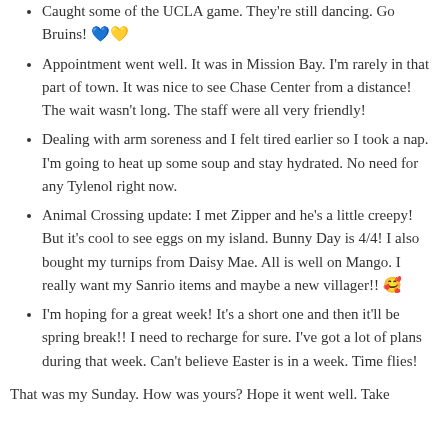Caught some of the UCLA game. They're still dancing. Go Bruins! 💙💛
Appointment went well. It was in Mission Bay. I'm rarely in that part of town. It was nice to see Chase Center from a distance! The wait wasn't long. The staff were all very friendly!
Dealing with arm soreness and I felt tired earlier so I took a nap. I'm going to heat up some soup and stay hydrated. No need for any Tylenol right now.
Animal Crossing update: I met Zipper and he's a little creepy! But it's cool to see eggs on my island. Bunny Day is 4/4! I also bought my turnips from Daisy Mae. All is well on Mango. I really want my Sanrio items and maybe a new villager!! 🥰
I'm hoping for a great week! It's a short one and then it'll be spring break!! I need to recharge for sure. I've got a lot of plans during that week. Can't believe Easter is in a week. Time flies!
That was my Sunday. How was yours? Hope it went well. Take